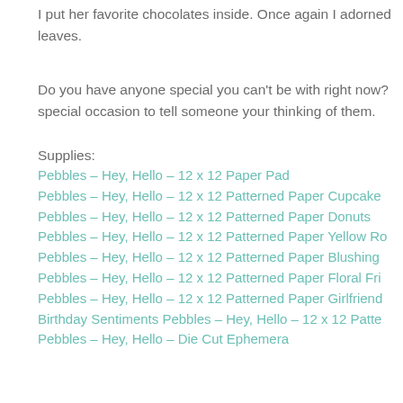I put her favorite chocolates inside. Once again I adorned leaves.
Do you have anyone special you can't be with right now? special occasion to tell someone your thinking of them.
Supplies:
Pebbles – Hey, Hello – 12 x 12 Paper Pad
Pebbles – Hey, Hello – 12 x 12 Patterned Paper Cupcake
Pebbles – Hey, Hello – 12 x 12 Patterned Paper Donuts
Pebbles – Hey, Hello – 12 x 12 Patterned Paper Yellow Ro
Pebbles – Hey, Hello – 12 x 12 Patterned Paper Blushing
Pebbles – Hey, Hello – 12 x 12 Patterned Paper Floral Fri
Pebbles – Hey, Hello – 12 x 12 Patterned Paper Girlfriend
Birthday Sentiments Pebbles – Hey, Hello – 12 x 12 Patte
Pebbles – Hey, Hello – Die Cut Ephemera